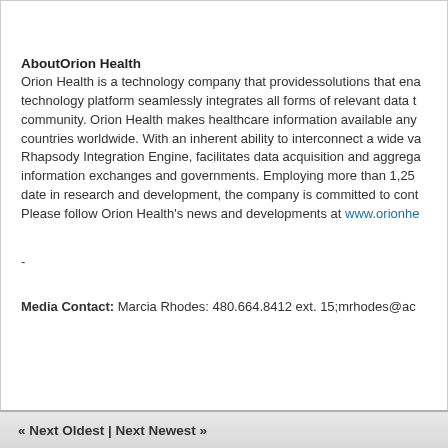AboutOrion Health
Orion Health is a technology company that providessolutions that ena technology platform seamlessly integrates all forms of relevant data t community. Orion Health makes healthcare information available any countries worldwide. With an inherent ability to interconnect a wide va Rhapsody Integration Engine, facilitates data acquisition and aggrega information exchanges and governments. Employing more than 1,25 date in research and development, the company is committed to cont Please follow Orion Health's news and developments at www.orionhe
-
Media Contact: Marcia Rhodes: 480.664.8412 ext. 15;mrhodes@ac
« Next Oldest | Next Newest »